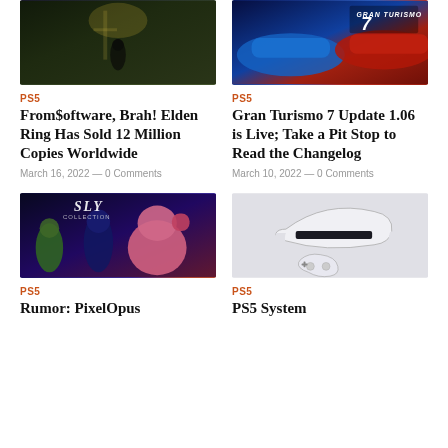[Figure (photo): Screenshot from Elden Ring video game showing dark fantasy environment]
[Figure (photo): Gran Turismo 7 cover art with blue and red racing cars and GT7 logo]
PS5
From$oftware, Brah! Elden Ring Has Sold 12 Million Copies Worldwide
March 16, 2022 — 0 Comments
PS5
Gran Turismo 7 Update 1.06 is Live; Take a Pit Stop to Read the Changelog
March 10, 2022 — 0 Comments
[Figure (photo): Sly Collection artwork showing animated raccoon characters]
[Figure (photo): PS5 console hardware with controller on white background]
PS5
Rumor: PixelOpus
PS5
PS5 System